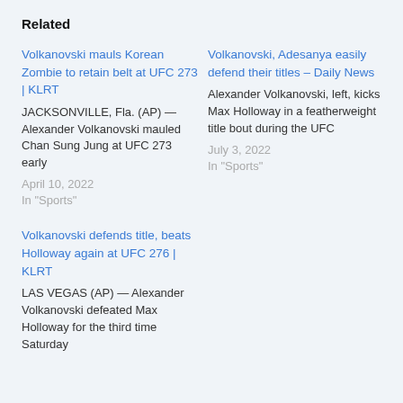Related
Volkanovski mauls Korean Zombie to retain belt at UFC 273 | KLRT
JACKSONVILLE, Fla. (AP) — Alexander Volkanovski mauled Chan Sung Jung at UFC 273 early
April 10, 2022
In "Sports"
Volkanovski, Adesanya easily defend their titles – Daily News
Alexander Volkanovski, left, kicks Max Holloway in a featherweight title bout during the UFC
July 3, 2022
In "Sports"
Volkanovski defends title, beats Holloway again at UFC 276 | KLRT
LAS VEGAS (AP) — Alexander Volkanovski defeated Max Holloway for the third time Saturday